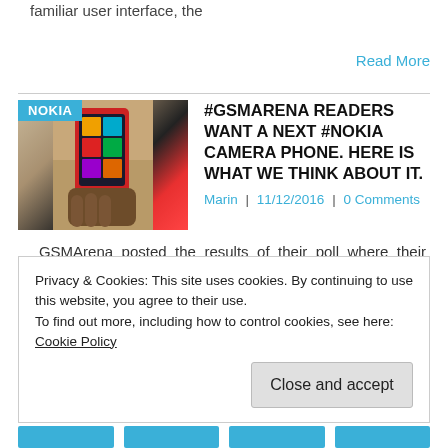familiar user interface, the
Read More
#GSMARENA READERS WANT A NEXT #NOKIA CAMERA PHONE. HERE IS WHAT WE THINK ABOUT IT.
Marin | 11/12/2016 | 0 Comments
[Figure (photo): Hand holding a Nokia Windows Phone smartphone with colorful tiles on screen, NOKIA label overlay in cyan]
GSMArena posted the results of their poll where their readers were asked what do they want from HMD, or even a better next Nokia smartphone. This is
Read More
Privacy & Cookies: This site uses cookies. By continuing to use this website, you agree to their use.
To find out more, including how to control cookies, see here: Cookie Policy
Close and accept